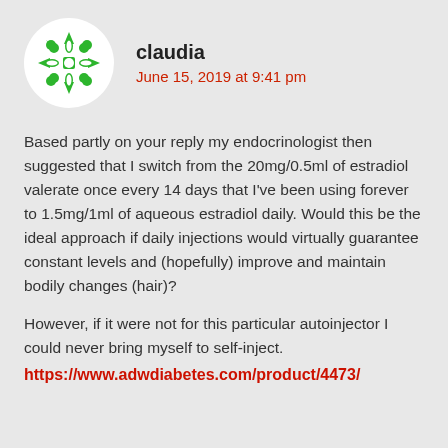[Figure (illustration): Green decorative snowflake/flower logo avatar in a white circle]
claudia
June 15, 2019 at 9:41 pm
Based partly on your reply my endocrinologist then suggested that I switch from the 20mg/0.5ml of estradiol valerate once every 14 days that I've been using forever to 1.5mg/1ml of aqueous estradiol daily. Would this be the ideal approach if daily injections would virtually guarantee constant levels and (hopefully) improve and maintain bodily changes (hair)?
However, if it were not for this particular autoinjector I could never bring myself to self-inject.
https://www.adwdiabetes.com/product/4473/